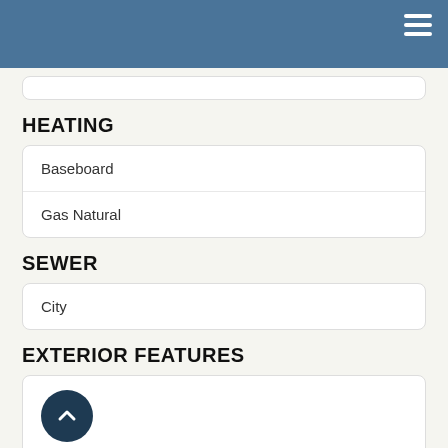HEATING
Baseboard
Gas Natural
SEWER
City
EXTERIOR FEATURES
Storage Building